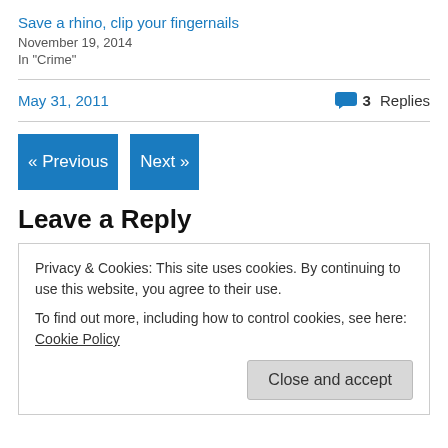Save a rhino, clip your fingernails
November 19, 2014
In "Crime"
May 31, 2011
3 Replies
« Previous
Next »
Leave a Reply
Privacy & Cookies: This site uses cookies. By continuing to use this website, you agree to their use.
To find out more, including how to control cookies, see here: Cookie Policy
Close and accept